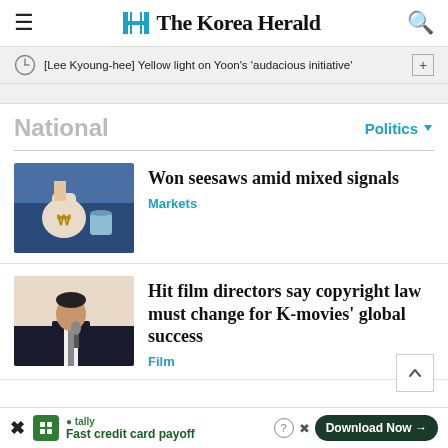The Korea Herald
[Lee Kyoung-hee] Yellow light on Yoon's 'audacious initiative'
National
Politics
[Figure (photo): Photo of a money bag with Korean won symbol and a jar of coins on a scale, held by a person in a suit]
Won seesaws amid mixed signals
Markets
[Figure (photo): Photo of a man in a suit speaking into a microphone at a podium]
Hit film directors say copyright law must change for K-movies' global success
Film
tally Fast credit card payoff Download Now